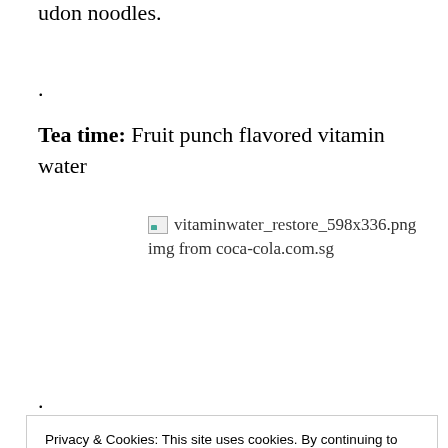udon noodles.
.
Tea time: Fruit punch flavored vitamin water
[Figure (photo): Broken image placeholder showing 'vitaminwater_restore_598x336.png' with caption 'img from coca-cola.com.sg']
.
Privacy & Cookies: This site uses cookies. By continuing to use this website, you agree to their use.
To find out more, including how to control cookies, see here: Cookie Policy
(THE REASON please don't be a version of this is in